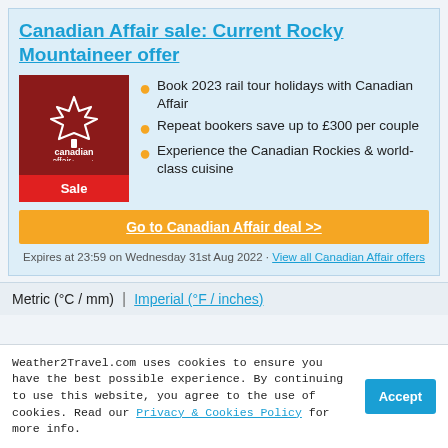Canadian Affair sale: Current Rocky Mountaineer offer
[Figure (logo): Canadian Affair logo on dark red background with maple leaf symbol, and a red Sale button below]
Book 2023 rail tour holidays with Canadian Affair
Repeat bookers save up to £300 per couple
Experience the Canadian Rockies & world-class cuisine
Go to Canadian Affair deal >>
Expires at 23:59 on Wednesday 31st Aug 2022 · View all Canadian Affair offers
Metric (°C / mm)  |  Imperial (°F / inches)
Weather2Travel.com uses cookies to ensure you have the best possible experience. By continuing to use this website, you agree to the use of cookies. Read our Privacy & Cookies Policy for more info.